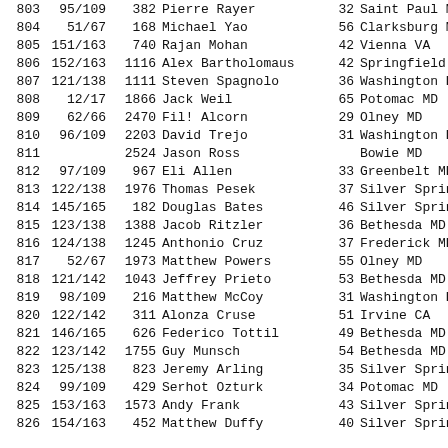| Place | AG | Bib | Name | Age | City |
| --- | --- | --- | --- | --- | --- |
| 803 | 95/109 | 382 | Pierre Rayer | 32 | Saint Paul MN |
| 804 | 51/67 | 168 | Michael Yao | 56 | Clarksburg MD |
| 805 | 151/163 | 740 | Rajan Mohan | 42 | Vienna VA |
| 806 | 152/163 | 1116 | Alex Bartholomaus | 42 | Springfield VA |
| 807 | 121/138 | 1111 | Steven Spagnolo | 36 | Washington DC |
| 808 | 12/17 | 1866 | Jack Weil | 65 | Potomac MD |
| 809 | 62/66 | 2470 | Fil! Alcorn | 29 | Olney MD |
| 810 | 96/109 | 2203 | David Trejo | 31 | Washington D.C. |
| 811 |  | 2524 | Jason Ross |  | Bowie MD |
| 812 | 97/109 | 967 | Eli Allen | 33 | Greenbelt MD |
| 813 | 122/138 | 1976 | Thomas Pesek | 37 | Silver Spring MD |
| 814 | 145/165 | 182 | Douglas Bates | 46 | Silver Spring MD |
| 815 | 123/138 | 1388 | Jacob Ritzler | 36 | Bethesda MD |
| 816 | 124/138 | 1245 | Anthonio Cruz | 37 | Frederick MD |
| 817 | 52/67 | 1973 | Matthew Powers | 55 | Olney MD |
| 818 | 121/142 | 1043 | Jeffrey Prieto | 53 | Bethesda MD |
| 819 | 98/109 | 216 | Matthew McCoy | 31 | Washington DC |
| 820 | 122/142 | 311 | Alonza Cruse | 51 | Irvine CA |
| 821 | 146/165 | 626 | Federico Tottil | 49 | Bethesda MD |
| 822 | 123/142 | 1755 | Guy Munsch | 54 | Bethesda MD |
| 823 | 125/138 | 823 | Jeremy Arling | 35 | Silver Spring MD |
| 824 | 99/109 | 429 | Serhot Ozturk | 34 | Potomac MD |
| 825 | 153/163 | 1573 | Andy Frank | 43 | Silver Spring MD |
| 826 | 154/163 | 452 | Matthew Duffy | 40 | Silver Spring MD |